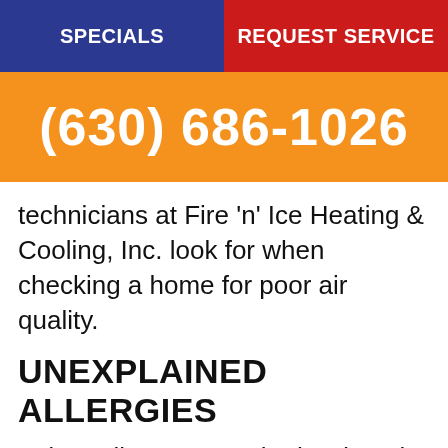SPECIALS | REQUEST SERVICE
(630) 686-1026
technicians at Fire 'n' Ice Heating & Cooling, Inc. look for when checking a home for poor air quality.
UNEXPLAINED ALLERGIES
Indoor allergens can be hard to pin down because allergens affect different people in different ways. What makes one person